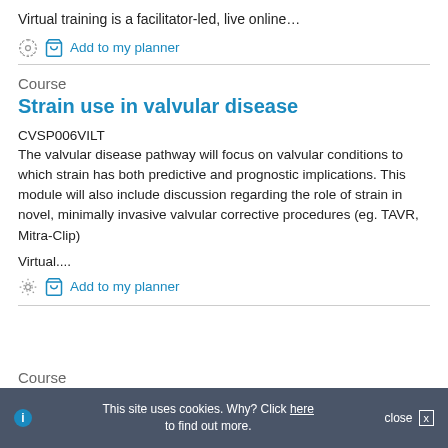Virtual training is a facilitator-led, live online…
Add to my planner
Course
Strain use in valvular disease
CVSP006VILT
The valvular disease pathway will focus on valvular conditions to which strain has both predictive and prognostic implications. This module will also include discussion regarding the role of strain in novel, minimally invasive valvular corrective procedures (eg. TAVR, Mitra-Clip)
Virtual....
Add to my planner
Course
This site uses cookies. Why? Click here to find out more.  close  x